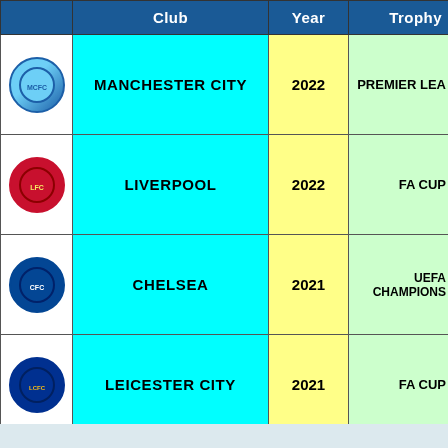|  | Club | Year | Trophy |
| --- | --- | --- | --- |
| [Man City logo] | MANCHESTER CITY | 2022 | PREMIER LEA... |
| [Liverpool logo] | LIVERPOOL | 2022 | FA CUP |
| [Chelsea logo] | CHELSEA | 2021 | UEFA CHAMPIONS... |
| [Leicester logo] | LEICESTER CITY | 2021 | FA CUP |
| [Arsenal logo] |  |  | ...A CUP |
|  |  |  | ...ROPAL... |
|  |  |  | ...P WINN... |
This website uses cookies to ensure you get the best experience on our website.
Learn more
Got it!